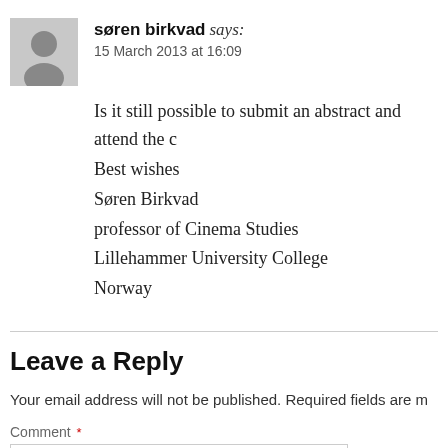søren birkvad says:
15 March 2013 at 16:09
Is it still possible to submit an abstract and attend the c
Best wishes
Søren Birkvad
professor of Cinema Studies
Lillehammer University College
Norway
Leave a Reply
Your email address will not be published. Required fields are m
Comment *